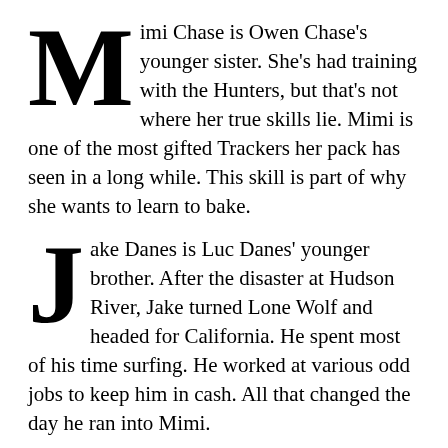Mimi Chase is Owen Chase's younger sister. She's had training with the Hunters, but that's not where her true skills lie. Mimi is one of the most gifted Trackers her pack has seen in a long while. This skill is part of why she wants to learn to bake.
Jake Danes is Luc Danes' younger brother. After the disaster at Hudson River, Jake turned Lone Wolf and headed for California. He spent most of his time surfing. He worked at various odd jobs to keep him in cash. All that changed the day he ran into Mimi.
All this changes when Mimi catches the